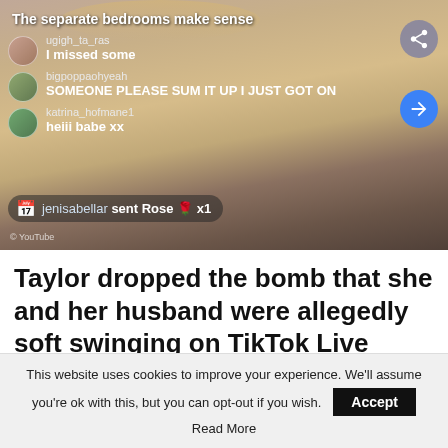[Figure (screenshot): TikTok Live screenshot showing comments overlaid on a video of a woman in a beige ribbed top. Comments include 'The separate bedrooms make sense', user ugigh_ta_ras: 'I missed some', user bigpoppaohyeah: 'SOMEONE PLEASE SUM IT UP I JUST GOT ON', user katrina_hofmane1: 'heiii babe xx', and gift notification 'jenisabellar sent Rose x1'. YouTube watermark visible. Two share/action buttons on the right side.]
Taylor dropped the bomb that she and her husband were allegedly soft swinging on TikTok Live
This website uses cookies to improve your experience. We'll assume you're ok with this, but you can opt-out if you wish. Accept Read More